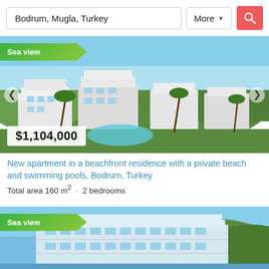Bodrum, Mugla, Turkey
More
[Figure (photo): Aerial/ground view of a modern beachfront apartment complex with white buildings, palm trees, greenery, and a swimming pool. 'Sea view' badge in green. Price shown: $1,104,000]
$1,104,000
New apartment in a beachfront residence with a private beach and swimming pools, Bodrum, Turkey
Total area 160 m² · 2 bedrooms
[Figure (photo): Partial view of a second property listing with 'Sea view' badge, showing a large modern apartment building near the sea with hillside in background.]